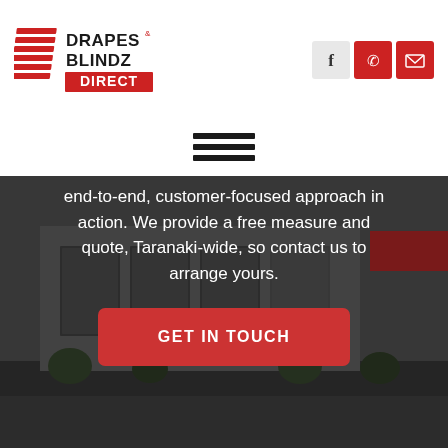[Figure (logo): Drapes & Blindz Direct logo with red chevron/blind slat graphic on left and company name on right]
[Figure (infographic): Facebook icon (grey background), phone icon (red background), mail icon (red background)]
[Figure (infographic): Hamburger menu icon with three horizontal black bars]
[Figure (photo): Dark/grey photo of a commercial building exterior with glass windows and landscaping shrubs]
end-to-end, customer-focused approach in action. We provide a free measure and quote, Taranaki-wide, so contact us to arrange yours.
GET IN TOUCH